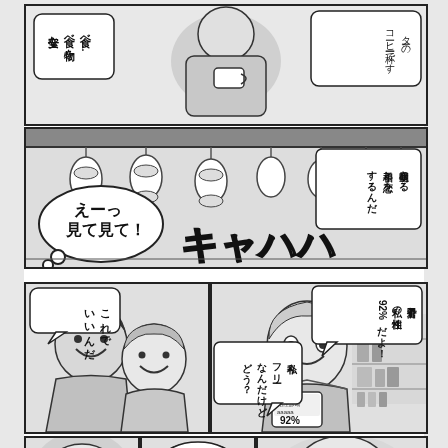[Figure (illustration): Manga panel 1: Top panel showing a person holding a coffee cup with speech bubbles in Japanese. Text in bubbles: 安全な食べ物を食べ…, ターのコーヒー一杯です]
[Figure (illustration): Manga panel 2: Wide panel showing a restaurant/bar scene with hanging lanterns, large stylized katakana キャハハ, speech bubbles: えーっ見て見て！, 明日生きる相手と恋をするんだ]
[Figure (illustration): Manga panel 3 left: Two characters laughing together, speech bubble: これでいいんだ]
[Figure (illustration): Manga panel 3 right: Woman smiling holding phone showing 92%, speech bubbles: 私今フリーなんだけどどう？, 甲介君と私の相性92%だよ！]
[Figure (illustration): Manga bottom panels: Three small panels showing character reactions, speech bubble: これで…]